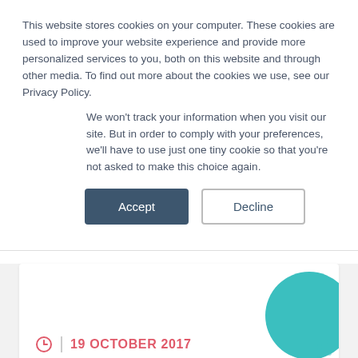This website stores cookies on your computer. These cookies are used to improve your website experience and provide more personalized services to you, both on this website and through other media. To find out more about the cookies we use, see our Privacy Policy.
We won't track your information when you visit our site. But in order to comply with your preferences, we'll have to use just one tiny cookie so that you're not asked to make this choice again.
Accept
Decline
19 OCTOBER 2017
Author: South West AHSN team